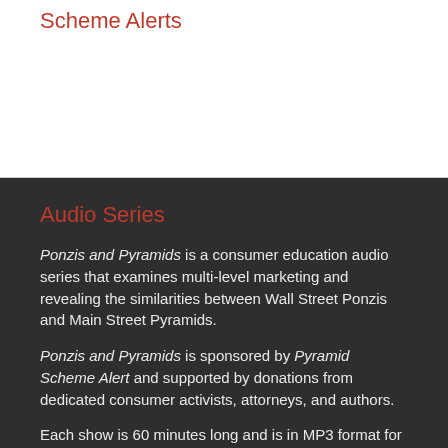Scheme Alerts
Audio Series
Ponzis and Pyramids is a consumer education audio series that examines multi-level marketing and revealing the similarities between Wall Street Ponzis and Main Street Pyramids.
Ponzis and Pyramids is sponsored by Pyramid Scheme Alert and supported by donations from dedicated consumer activists, attorneys, and authors.
Each show is 60 minutes long and is in MP3 format for downloading to iPod or any MP3 player.